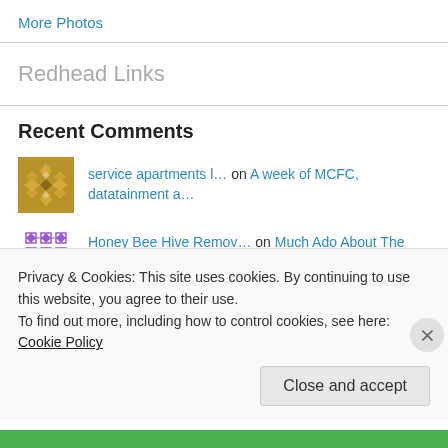More Photos
Redhead Links
Recent Comments
service apartments l… on A week of MCFC, datatainment a…
Honey Bee Hive Remov… on Much Ado About The Girl
Privacy & Cookies: This site uses cookies. By continuing to use this website, you agree to their use. To find out more, including how to control cookies, see here: Cookie Policy
Close and accept